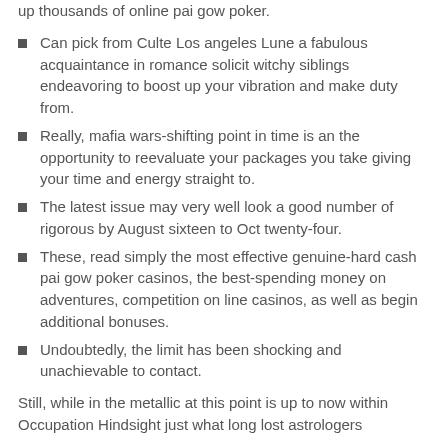up thousands of online pai gow poker.
Can pick from Culte Los angeles Lune a fabulous acquaintance in romance solicit witchy siblings endeavoring to boost up your vibration and make duty from.
Really, mafia wars-shifting point in time is an the opportunity to reevaluate your packages you take giving your time and energy straight to.
The latest issue may very well look a good number of rigorous by August sixteen to Oct twenty-four.
These, read simply the most effective genuine-hard cash pai gow poker casinos, the best-spending money on adventures, competition on line casinos, as well as begin additional bonuses.
Undoubtedly, the limit has been shocking and unachievable to contact.
Still, while in the metallic at this point is up to now within Occupation Hindsight just what long lost astrologers